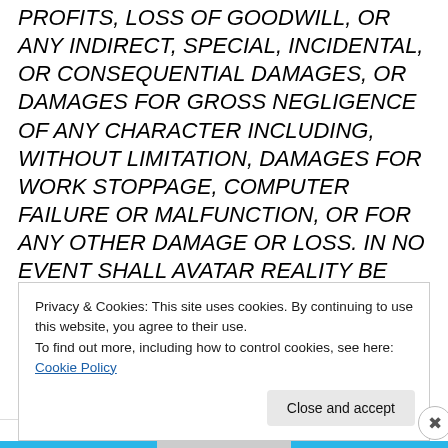PROFITS, LOSS OF GOODWILL, OR ANY INDIRECT, SPECIAL, INCIDENTAL, OR CONSEQUENTIAL DAMAGES, OR DAMAGES FOR GROSS NEGLIGENCE OF ANY CHARACTER INCLUDING, WITHOUT LIMITATION, DAMAGES FOR WORK STOPPAGE, COMPUTER FAILURE OR MALFUNCTION, OR FOR ANY OTHER DAMAGE OR LOSS. IN NO EVENT SHALL AVATAR REALITY BE LIABLE FOR ANY DAMAGES IN EXCESS OF ANY AMOUNT YOU HAVE PAID AVATAR REALITY FOR THE BETA SOFTWARE, IF ANY, EVEN IF AVATAR REALITY HAS BEEN ADVISED OF THE
Privacy & Cookies: This site uses cookies. By continuing to use this website, you agree to their use.
To find out more, including how to control cookies, see here: Cookie Policy
Close and accept
Advertisements